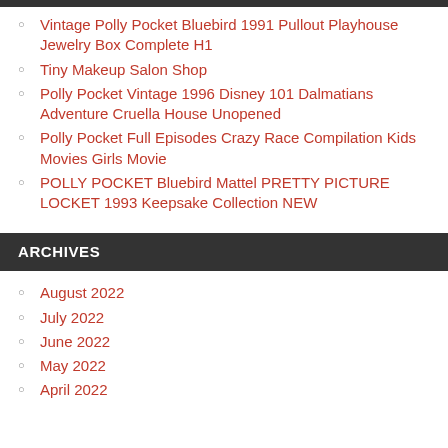Vintage Polly Pocket Bluebird 1991 Pullout Playhouse Jewelry Box Complete H1
Tiny Makeup Salon Shop
Polly Pocket Vintage 1996 Disney 101 Dalmatians Adventure Cruella House Unopened
Polly Pocket Full Episodes Crazy Race Compilation Kids Movies Girls Movie
POLLY POCKET Bluebird Mattel PRETTY PICTURE LOCKET 1993 Keepsake Collection NEW
ARCHIVES
August 2022
July 2022
June 2022
May 2022
April 2022